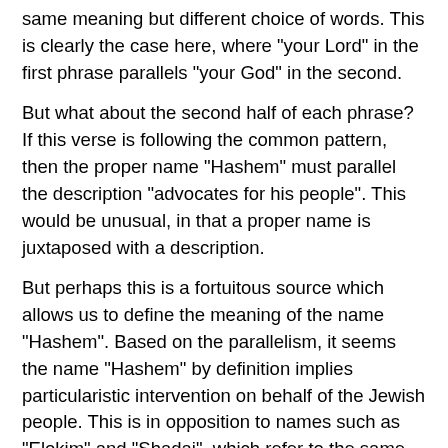same meaning but different choice of words. This is clearly the case here, where "your Lord" in the first phrase parallels "your God" in the second.
But what about the second half of each phrase? If this verse is following the common pattern, then the proper name "Hashem" must parallel the description "advocates for his people". This would be unusual, in that a proper name is juxtaposed with a description.
But perhaps this is a fortuitous source which allows us to define the meaning of the name "Hashem". Based on the parallelism, it seems the name "Hashem" by definition implies particularistic intervention on behalf of the Jewish people. This is in opposition to names such as "Elokim" and "Shadai", which refer to the same God, but which relate to more universal/natural behavior by God.
We could perhaps have reached the same conclusion, by looking at the patterns of name usage in Tanach. But that would be difficult, since other factors often complicate the choice of names, and the patterns are not 100% consistent. In contrast, in this verse, the definition is intuitively explicit.